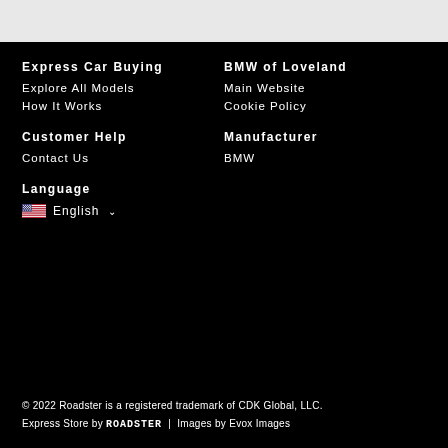Express Car Buying
Explore All Models
How It Works
BMW of Loveland
Main Website
Cookie Policy
Customer Help
Contact Us
Manufacturer
BMW
Language
English
© 2022 Roadster is a registered trademark of CDK Global, LLC.
Express Store by ROADSTER  |  Images by Evox Images